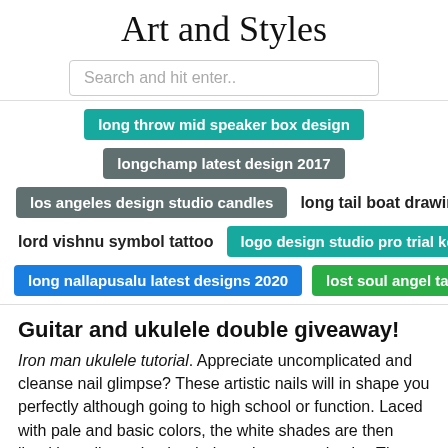Art and Styles
Search and hit enter..
long throw mid speaker box design
longchamp latest design 2017
los angeles design studio candles
long tail boat drawing
lord vishnu symbol tattoo
logo design studio pro trial key
long nallapusalu latest designs 2020
lost soul angel tattoo
Guitar and ukulele double giveaway!
Iron man ukulele tutorial. Appreciate uncomplicated and cleanse nail glimpse? These artistic nails will in shape you perfectly although going to high school or function. Laced with pale and basic colors, the white shades are then lined by solitary slender dark strains to emphasize The straightforward nonetheless classy design topped with smaller dark beads. Obtaining wholesale nail supplies has not been easier, rapidly and reasonably priced. You can take